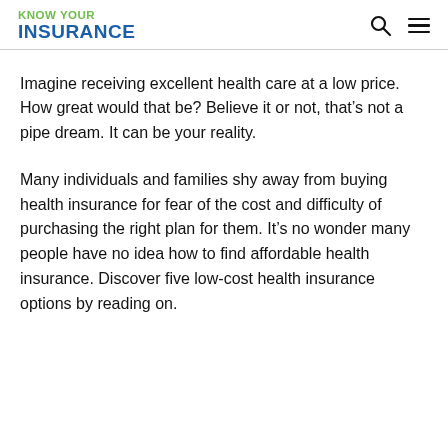KNOW YOUR INSURANCE
Imagine receiving excellent health care at a low price. How great would that be? Believe it or not, that’s not a pipe dream. It can be your reality.
Many individuals and families shy away from buying health insurance for fear of the cost and difficulty of purchasing the right plan for them. It’s no wonder many people have no idea how to find affordable health insurance. Discover five low-cost health insurance options by reading on.